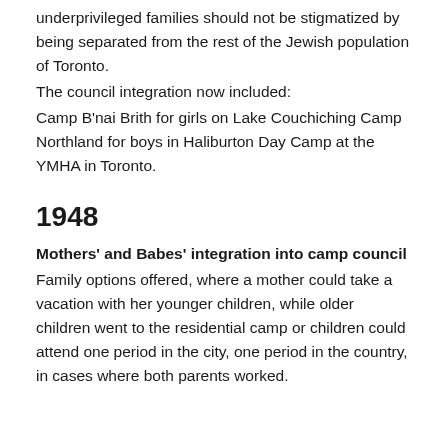underprivileged families should not be stigmatized by being separated from the rest of the Jewish population of Toronto.
The council integration now included:
Camp B'nai Brith for girls on Lake Couchiching Camp Northland for boys in Haliburton Day Camp at the YMHA in Toronto.
1948
Mothers' and Babes' integration into camp council
Family options offered, where a mother could take a vacation with her younger children, while older children went to the residential camp or children could attend one period in the city, one period in the country, in cases where both parents worked.